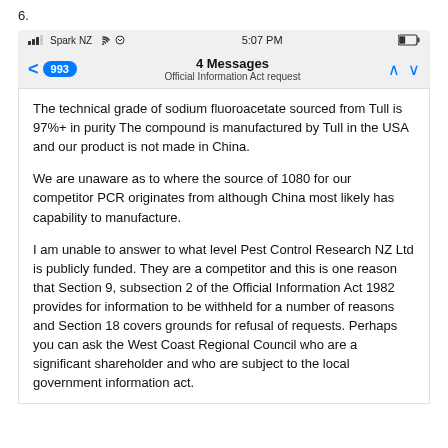6.
[Figure (screenshot): Mobile phone screenshot showing email/message app. Status bar shows Spark NZ carrier, WiFi, 5:07 PM, and battery icon. Message header shows '4 Messages' with subtitle 'Official Information Act request' and back button with badge '993'.]
The technical grade of sodium fluoroacetate sourced from Tull is 97%+ in purity  The compound is manufactured by Tull in the USA and our product is not made in China.
We are unaware as to where the source of 1080 for our competitor PCR originates from although China most likely has capability to manufacture.
I am unable to answer to what level Pest Control Research NZ Ltd is publicly funded. They are a competitor and this is one reason that Section 9, subsection 2 of the Official Information Act 1982 provides for information to be withheld for a number of reasons and Section 18 covers grounds for refusal of requests.  Perhaps you can ask the West Coast Regional Council who are a significant shareholder and who are subject to the local government information act.